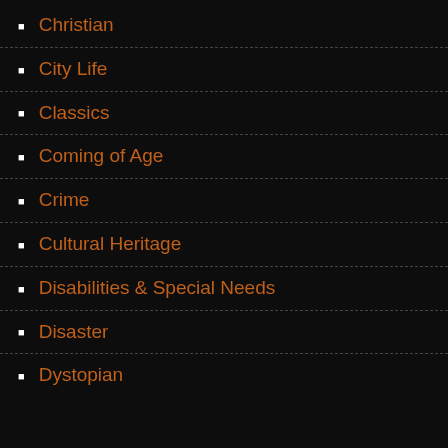Christian
City Life
Classics
Coming of Age
Crime
Cultural Heritage
Disabilities & Special Needs
Disaster
Dystopian